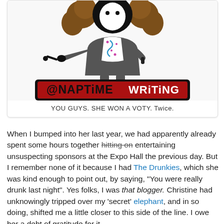[Figure (illustration): Cartoon illustration of a character in a dark suit with brown curly hair, wearing a decorative shirt with blue and pink details, making a pointing gesture. Below the character is a red banner with black border reading '@NAPTiME WRiTiNG' in hand-drawn style lettering.]
YOU GUYS. SHE WON A VOTY. Twice.
When I bumped into her last year, we had apparently already spent some hours together hitting on entertaining unsuspecting sponsors at the Expo Hall the previous day. But I remember none of it because I had The Drunkies, which she was kind enough to point out, by saying, "You were really drunk last night". Yes folks, I was that blogger. Christine had unknowingly tripped over my 'secret' elephant, and in so doing, shifted me a little closer to this side of the line. I owe her a debt of gratitude for it.